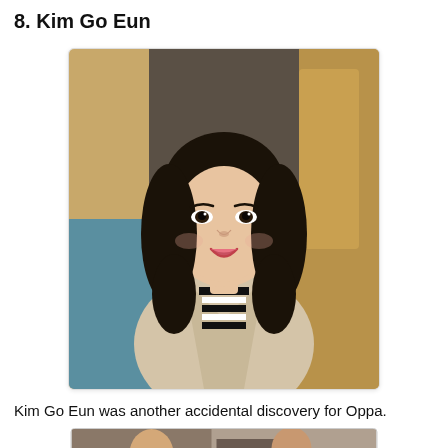8. Kim Go Eun
[Figure (photo): Photo of Kim Go Eun, a Korean actress, smiling and wearing a beige coat over a black and white striped top, with shoulder-length dark hair, seated indoors.]
Kim Go Eun was another accidental discovery for Oppa.
[Figure (photo): Partial photo at bottom of page, cropped, showing two people in what appears to be an indoor setting.]